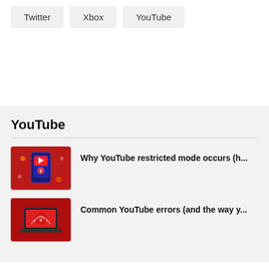Twitter
Xbox
YouTube
YouTube
[Figure (illustration): Red background illustration with a phone/screen and digital icons, related to YouTube restricted mode]
Why YouTube restricted mode occurs (h...
[Figure (illustration): Red background illustration with a laptop and wifi/signal icons, related to YouTube errors]
Common YouTube errors (and the way y...